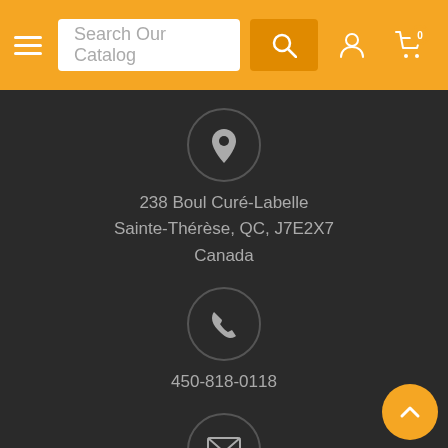Search Our Catalog
238 Boul Curé-Labelle
Sainte-Thérèse, QC, J7E2X7
Canada
450-818-0118
info@jeuxjubes.com
Store Hours
Monday - Friday 10-21